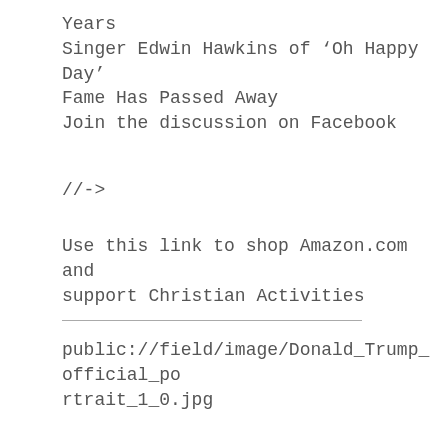Years
Singer Edwin Hawkins of ‘Oh Happy Day’ Fame Has Passed Away
Join the discussion on Facebook
//->
Use this link to shop Amazon.com and support Christian Activities
public://field/image/Donald_Trump_official_portrait_1_0.jpg